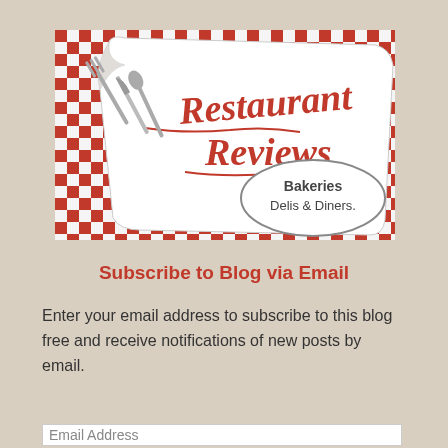[Figure (logo): Restaurant Reviews blog logo with red and white checkered tablecloth background, a curling paper/napkin with 'Restaurant Reviews' written in red cursive text, silverware (fork, knife, spoon) on the left, and an oval badge reading 'Bakeries Delis & Diners' on the right.]
Subscribe to Blog via Email
Enter your email address to subscribe to this blog free and receive notifications of new posts by email.
Email Address